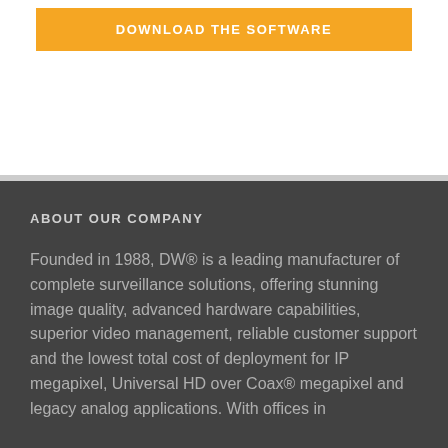[Figure (other): Orange 'DOWNLOAD THE SOFTWARE' button on white background]
ABOUT OUR COMPANY
Founded in 1988, DW® is a leading manufacturer of complete surveillance solutions, offering stunning image quality, advanced hardware capabilities, superior video management, reliable customer support and the lowest total cost of deployment for IP megapixel, Universal HD over Coax® megapixel and legacy analog applications. With offices in